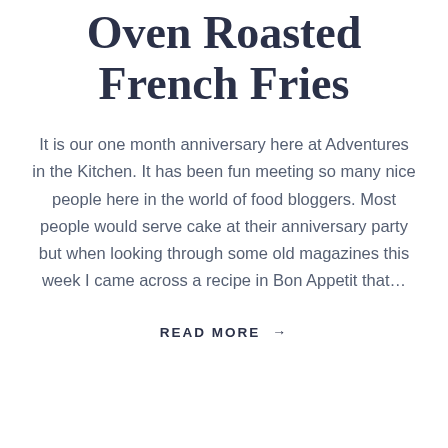Oven Roasted French Fries
It is our one month anniversary here at Adventures in the Kitchen. It has been fun meeting so many nice people here in the world of food bloggers. Most people would serve cake at their anniversary party but when looking through some old magazines this week I came across a recipe in Bon Appetit that...
READ MORE →